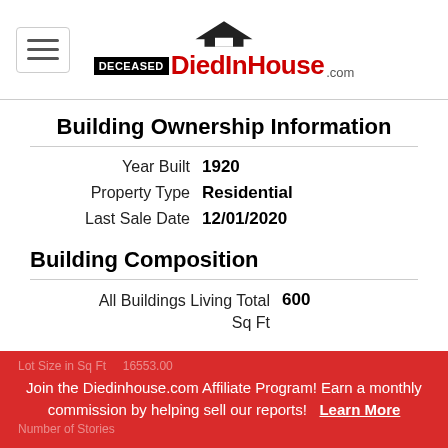DiedInHouse.com logo header
Building Ownership Information
Year Built   1920
Property Type   Residential
Last Sale Date   12/01/2020
Building Composition
All Buildings Living Total   600
Sq Ft
Lot Size in Sq Ft   16553.00
Join the Diedinhouse.com Affiliate Program! Earn a monthly commission by helping sell our reports!   Learn More
Number of Stories